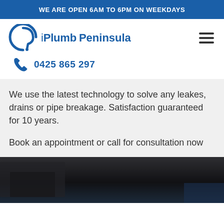WE ARE OPEN 6AM TO 6PM ON WEEKDAYS
[Figure (logo): iPlumb Peninsula logo with blue circular pipe/wrench icon and text 'iPlumb Peninsula' in blue]
0425 865 297
We use the latest technology to solve any leakes, drains or pipe breakage. Satisfaction guaranteed for 10 years.
Book an appointment or call for consultation now
[Figure (photo): Dark photo of plumbing or sink area, mostly dark tones]